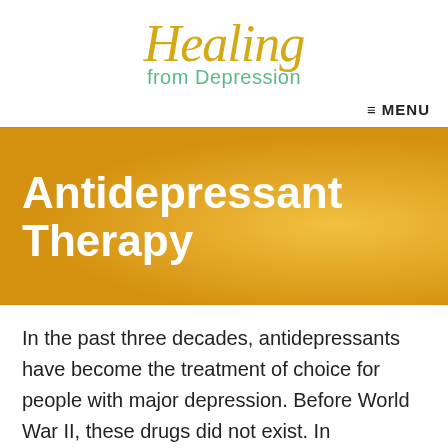Healing from Depression
≡ MENU
Antidepressant Therapy
In the past three decades, antidepressants have become the treatment of choice for people with major depression. Before World War II, these drugs did not exist. In